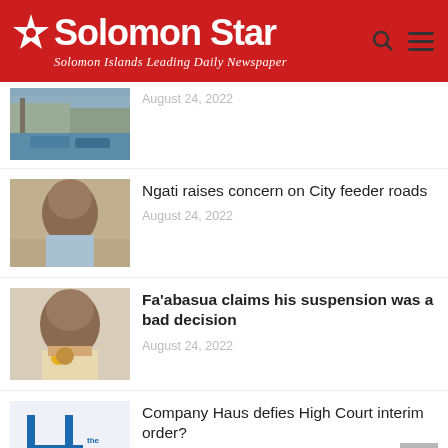Solomon Star — Solomon Islands Leading Daily Newspaper
[Figure (photo): Partial news article thumbnail showing boats at a dock/waterfront scene]
August 24, 2022
[Figure (photo): Portrait photo of a man in a light blue striped shirt]
Ngati raises concern on City feeder roads
August 24, 2022
[Figure (photo): Man speaking into a yellow microphone, wearing a floral shirt with a flower lei]
Fa'abasua claims his suspension was a bad decision
August 24, 2022
[Figure (logo): The Company Haus logo with a blue number 4 shape]
Company Haus defies High Court interim order?
August 24, 2022